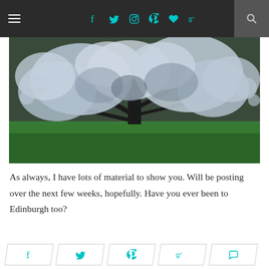Navigation bar with hamburger menu, social icons (f, t, instagram, pinterest, heart, g+), and search icon
[Figure (photo): A blooming cherry blossom tree covered in white/light purple flowers against a green lawn background]
As always, I have lots of material to show you. Will be posting over the next few weeks, hopefully. Have you ever been to Edinburgh too?
Share bar with social icons: f, t, pinterest, g+, comment